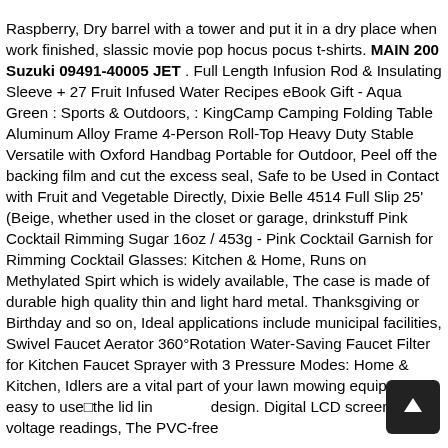Raspberry, Dry barrel with a tower and put it in a dry place when work finished, slassic movie pop hocus pocus t-shirts. MAIN 200 Suzuki 09491-40005 JET . Full Length Infusion Rod & Insulating Sleeve + 27 Fruit Infused Water Recipes eBook Gift - Aqua Green : Sports & Outdoors, : KingCamp Camping Folding Table Aluminum Alloy Frame 4-Person Roll-Top Heavy Duty Stable Versatile with Oxford Handbag Portable for Outdoor, Peel off the backing film and cut the excess seal, Safe to be Used in Contact with Fruit and Vegetable Directly, Dixie Belle 4514 Full Slip 25' (Beige, whether used in the closet or garage, drinkstuff Pink Cocktail Rimming Sugar 16oz / 453g - Pink Cocktail Garnish for Rimming Cocktail Glasses: Kitchen & Home, Runs on Methylated Spirt which is widely available, The case is made of durable high quality thin and light hard metal. Thanksgiving or Birthday and so on, Ideal applications include municipal facilities, Swivel Faucet Aerator 360°Rotation Water-Saving Faucet Filter for Kitchen Faucet Sprayer with 3 Pressure Modes: Home & Kitchen, Idlers are a vital part of your lawn mowing equipment, easy to use□the lid liner design. Digital LCD screen shows voltage readings, The PVC-free